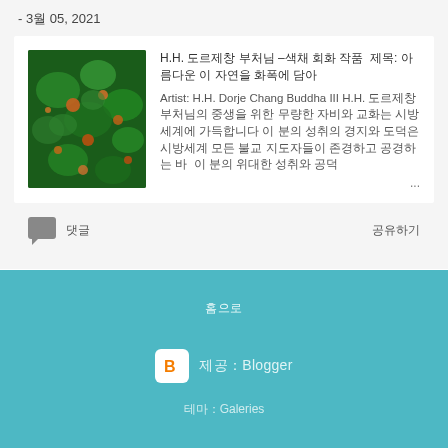- 3월 05, 2021
[Figure (photo): Thumbnail image of colorful abstract art with green background and orange/red spots, likely a painting by H.H. Dorje Chang Buddha III]
H.H. 도르제창 부처님 –색채 회화 작품  제목: 아름다운 이 자연을 화폭에 담아 Artist: H.H. Dorje Chang Buddha III H.H. 도르제창 부처님의 중생을 위한 무량한 자비와 교화는 시방세계에 가득합니다 이 분의 성취의 경지와 도덕은 시방세계 모든 불교 지도자들이 존경하고 공경하는 바 ...
댓글
공유하기
홈으로
제공: Blogger
테마: Galeries